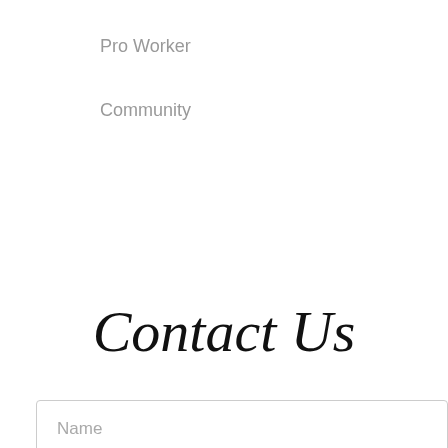Pro Worker
Community
Contact Us
Name